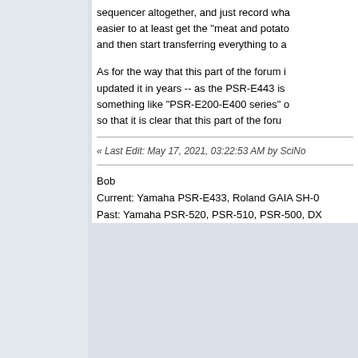sequencer altogether, and just record wha... easier to at least get the "meat and potato... and then start transferring everything to a...
As for the way that this part of the forum i... updated it in years -- as the PSR-E443 is ... something like "PSR-E200-E400 series" c... so that it is clear that this part of the foru...
« Last Edit: May 17, 2021, 03:22:53 AM by SciNo...
Bob
Current: Yamaha PSR-E433, Roland GAIA SH-0...
Past: Yamaha PSR-520, PSR-510, PSR-500, DX...
mikf
Global Moderator
Senior Member
Posts: 5,095
Total likes: 1865
Thanked: 566 times
Shigeru Grand : CVP705 : CVP605 : Yamaha Grand
Re: How to record a track directly from midi file
« Reply #14 on: May 17, 2021, 04:50:49 AM »
Quote from: SciNote on May 17, 2021, 03:06:59 ...
As for the way that this part of the forum is labele... years -- as the PSR-E443 is a seven year old mo... series" or "PSR-E2xx-E4xx series" or something... all PSR-E series keyboards.
Actually the section title is generic, PSR R...